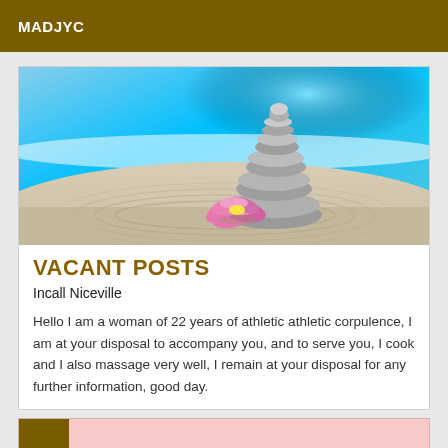MADJYC
[Figure (photo): Zen stacked stones (balancing rocks) with a pink lotus flower on rippled sand, blue sky background - a wellness/massage themed decorative photo]
VACANT POSTS
Incall Niceville
Hello I am a woman of 22 years of athletic athletic corpulence, I am at your disposal to accompany you, and to serve you, I cook and I also massage very well, I remain at your disposal for any further information, good day.